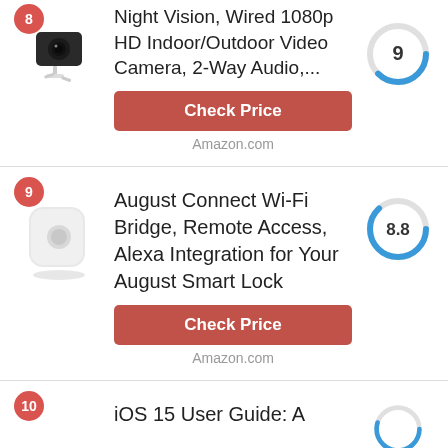[Figure (photo): Product listing item: small black security camera with score badge showing 9 (partial top). Wyze Cam V3 with Color Night Vision, Wired 1080p HD Indoor/Outdoor Video Camera, 2-Way Audio.]
Night Vision, Wired 1080p HD Indoor/Outdoor Video Camera, 2-Way Audio,...
Check Price
Amazon.com
[Figure (photo): Product listing item #9: August Connect Wi-Fi Bridge, small square white device. Score badge showing 8.8.]
August Connect Wi-Fi Bridge, Remote Access, Alexa Integration for Your August Smart Lock
Check Price
Amazon.com
[Figure (photo): Product listing item #10: iOS 15 User Guide (partial, cut off at bottom).]